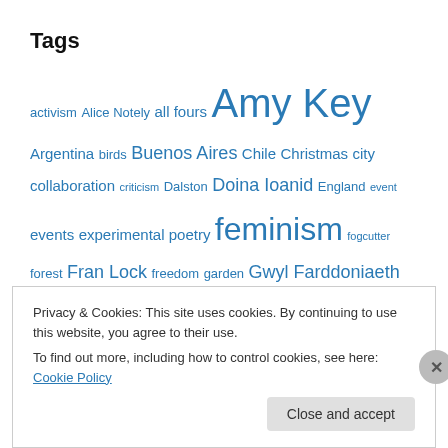Tags
activism Alice Notely all fours Amy Key Argentina birds Buenos Aires Chile Christmas city collaboration criticism Dalston Doina Ioanid England event events experimental poetry feminism fogcutter forest Fran Lock freedom garden Gwyl Farddoniaeth Ryngwladol Gogledd Cymru history Iraq Istanbul Jacob Kirkegaard Kurdistan listening london long words Lutz Seiler magazine magazines Marina C Kohon Mark Waldron Mossy Coat music New Welsh Review new year Nia Davies North Wales International Poetry Festival Patagonia
Privacy & Cookies: This site uses cookies. By continuing to use this website, you agree to their use.
To find out more, including how to control cookies, see here: Cookie Policy
Close and accept